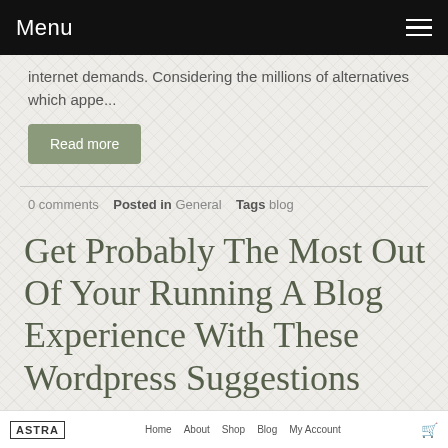Menu
internet demands. Considering the millions of alternatives which appe...
Read more
0 comments   Posted in General   Tags blog
Get Probably The Most Out Of Your Running A Blog Experience With These Wordpress Suggestions
August 13, 2020
ASTRA   Home   About   Shop   Blog   My Account